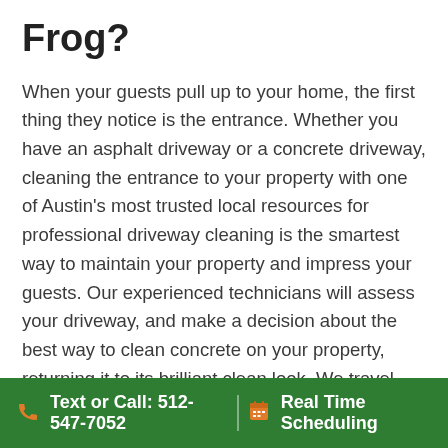Frog?
When your guests pull up to your home, the first thing they notice is the entrance. Whether you have an asphalt driveway or a concrete driveway, cleaning the entrance to your property with one of Austin's most trusted local resources for professional driveway cleaning is the smartest way to maintain your property and impress your guests. Our experienced technicians will assess your driveway, and make a decision about the best way to clean concrete on your property, returning it to its brilliant clean look. We travel with the best concrete pressure washing equipment, so we can leave your concrete driveway cleaner than it was when we found it.
Text or Call: 512-547-7052   Real Time Scheduling